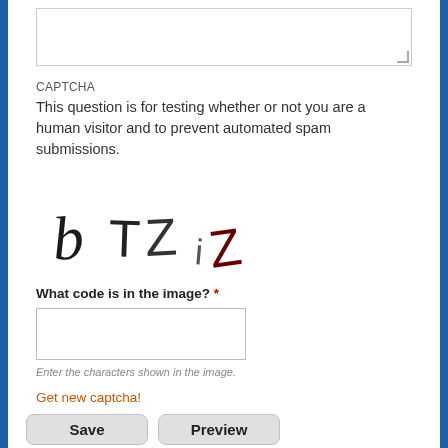[Figure (screenshot): A textarea input box at the top of the form, with a resize handle in the bottom-right corner.]
CAPTCHA
This question is for testing whether or not you are a human visitor and to prevent automated spam submissions.
[Figure (other): CAPTCHA image showing handwritten characters: b TZ iZ]
What code is in the image? *
[Figure (other): Text input box for entering CAPTCHA characters]
Enter the characters shown in the image.
Get new captcha!
Save
Preview